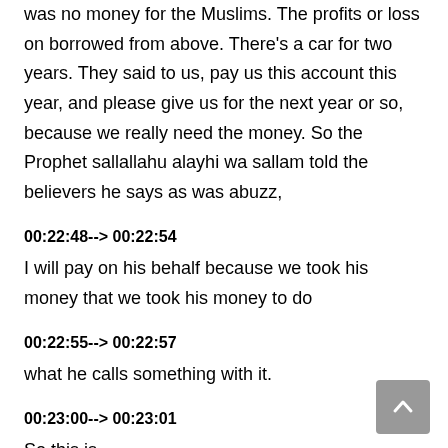was no money for the Muslims. The profits or loss on borrowed from above. There's a car for two years. They said to us, pay us this account this year, and please give us for the next year or so, because we really need the money. So the Prophet sallallahu alayhi wa sallam told the believers he says as was abuzz,
00:22:48--> 00:22:54
I will pay on his behalf because we took his money that we took his money to do
00:22:55--> 00:22:57
what he calls something with it.
00:23:00--> 00:23:01
So this is